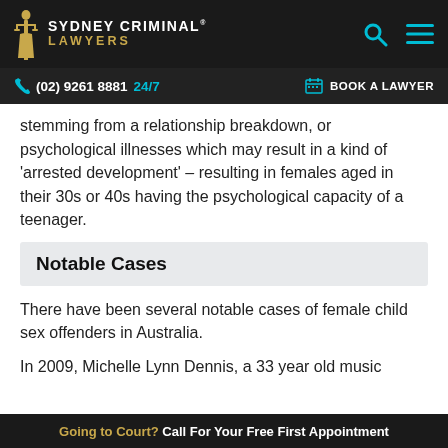SYDNEY CRIMINAL® LAWYERS
(02) 9261 8881 24/7  BOOK A LAWYER
stemming from a relationship breakdown, or psychological illnesses which may result in a kind of 'arrested development' – resulting in females aged in their 30s or 40s having the psychological capacity of a teenager.
Notable Cases
There have been several notable cases of female child sex offenders in Australia.
In 2009, Michelle Lynn Dennis, a 33 year old music
Going to Court? Call For Your Free First Appointment